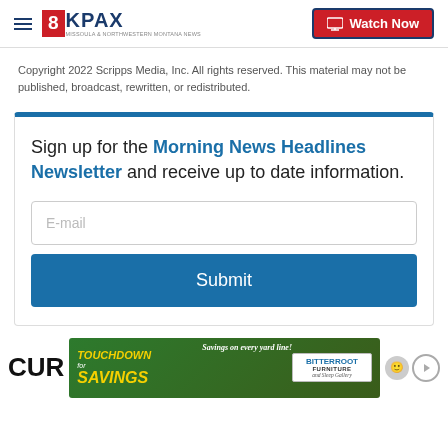8KPAX | Watch Now
Copyright 2022 Scripps Media, Inc. All rights reserved. This material may not be published, broadcast, rewritten, or redistributed.
Sign up for the Morning News Headlines Newsletter and receive up to date information.
[Figure (screenshot): Newsletter sign-up box with E-mail input field and Submit button, blue top border]
CUR
[Figure (illustration): Touchdown Savings advertisement banner for Bitterroot furniture store with football theme]